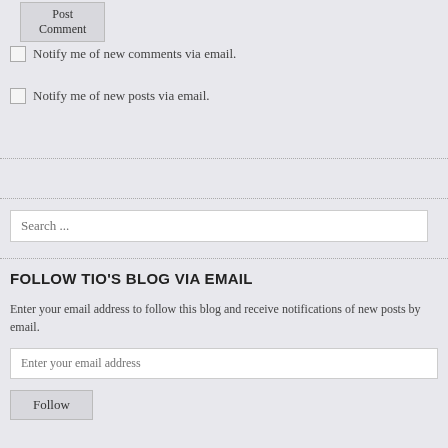Post Comment
Notify me of new comments via email.
Notify me of new posts via email.
Search ...
FOLLOW TIO'S BLOG VIA EMAIL
Enter your email address to follow this blog and receive notifications of new posts by email.
Enter your email address
Follow